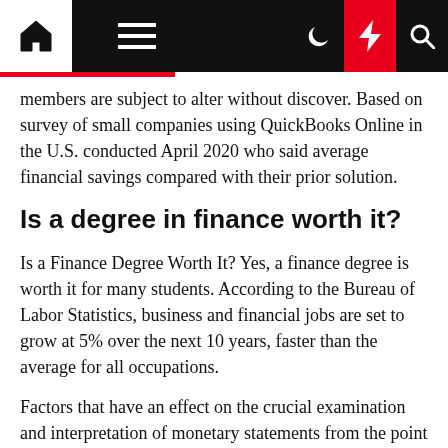Navigation bar with home, menu, moon, lightning, and search icons
members are subject to alter without discover. Based on survey of small companies using QuickBooks Online in the U.S. conducted April 2020 who said average financial savings compared with their prior solution.
Is a degree in finance worth it?
Is a Finance Degree Worth It? Yes, a finance degree is worth it for many students. According to the Bureau of Labor Statistics, business and financial jobs are set to grow at 5% over the next 10 years, faster than the average for all occupations.
Factors that have an effect on the crucial examination and interpretation of monetary statements from the point of view of teams, utilizing